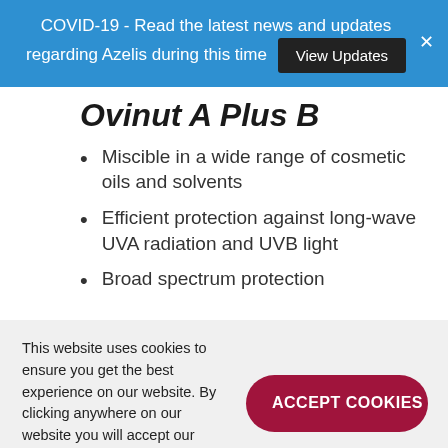COVID-19 - Read the latest news and updates regarding Azelis during this time View Updates
Ovinut A Plus B
Miscible in a wide range of cosmetic oils and solvents
Efficient protection against long-wave UVA radiation and UVB light
Broad spectrum protection
This website uses cookies to ensure you get the best experience on our website. By clicking anywhere on our website you will accept our cookie policy.